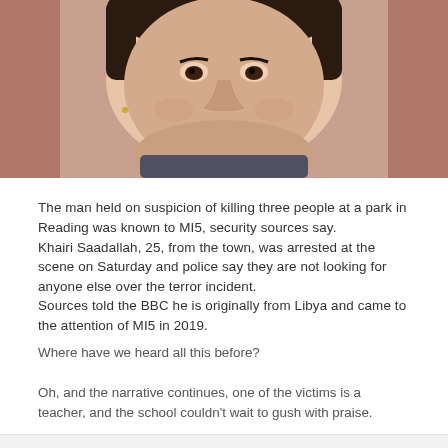[Figure (photo): Close-up photo of a young man's face, appearing to be taken from a video still. Background includes car interior. Man has dark eyes and short dark hair.]
The man held on suspicion of killing three people at a park in Reading was known to MI5, security sources say.
Khairi Saadallah, 25, from the town, was arrested at the scene on Saturday and police say they are not looking for anyone else over the terror incident.
Sources told the BBC he is originally from Libya and came to the attention of MI5 in 2019.
Where have we heard all this before?
Oh, and the narrative continues, one of the victims is a teacher, and the school couldn't wait to gush with praise.